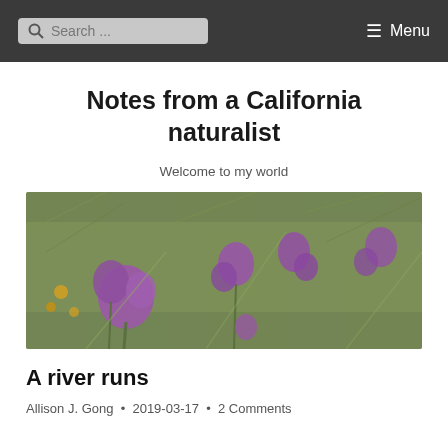Search ... Menu
Notes from a California naturalist
Welcome to my world
[Figure (photo): Field of purple wildflowers (likely owls clover or similar) among green grasses, photographed in California]
A river runs
Allison J. Gong • 2019-03-17 • 2 Comments